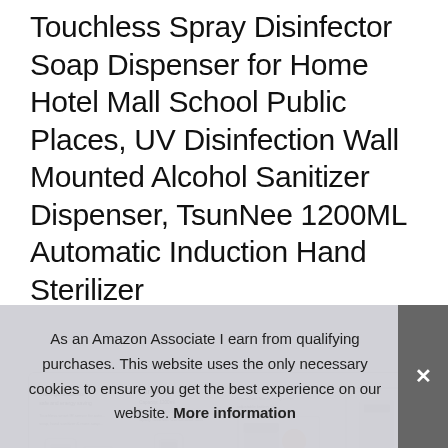Touchless Spray Disinfector Soap Dispenser for Home Hotel Mall School Public Places, UV Disinfection Wall Mounted Alcohol Sanitizer Dispenser, TsunNee 1200ML Automatic Induction Hand Sterilizer
[Figure (photo): Four product images of the TsunNee touchless soap dispenser showing different angles and features]
Tsu
disi
auto
As an Amazon Associate I earn from qualifying purchases. This website uses the only necessary cookies to ensure you get the best experience on our website. More information